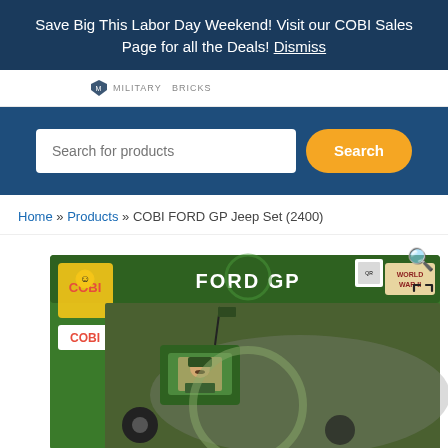Save Big This Labor Day Weekend! Visit our COBI Sales Page for all the Deals! Dismiss
[Figure (logo): Military Bricks logo with shield icon]
[Figure (screenshot): Search bar with text 'Search for products' and orange Search button on dark blue background]
Home » Products » COBI FORD GP Jeep Set (2400)
[Figure (photo): COBI FORD GP Jeep Set box image showing a green military jeep model with COBI branding, FORD GP label, and WWII logo]